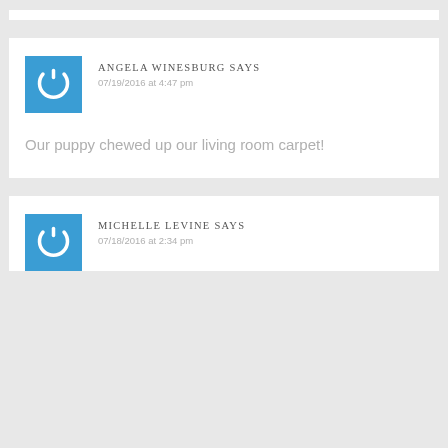ANGELA WINESBURG SAYS
07/19/2016 at 4:47 pm
Our puppy chewed up our living room carpet!
MICHELLE LEVINE SAYS
07/18/2016 at 2:34 pm